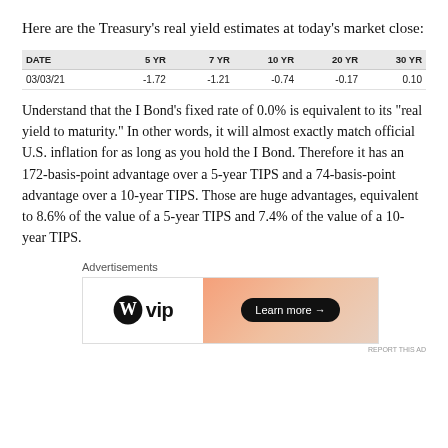Here are the Treasury's real yield estimates at today's market close:
| DATE | 5 YR | 7 YR | 10 YR | 20 YR | 30 YR |
| --- | --- | --- | --- | --- | --- |
| 03/03/21 | -1.72 | -1.21 | -0.74 | -0.17 | 0.10 |
Understand that the I Bond's fixed rate of 0.0% is equivalent to its “real yield to maturity.” In other words, it will almost exactly match official U.S. inflation for as long as you hold the I Bond. Therefore it has an 172-basis-point advantage over a 5-year TIPS and a 74-basis-point advantage over a 10-year TIPS. Those are huge advantages, equivalent to 8.6% of the value of a 5-year TIPS and 7.4% of the value of a 10-year TIPS.
[Figure (infographic): WordPress VIP advertisement banner with logo on left and 'Learn more' button on right with orange gradient background]